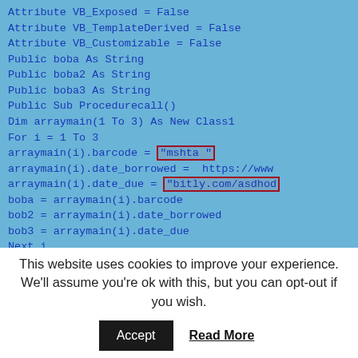[Figure (screenshot): Screenshot of Visual Basic code on a blue background showing class attributes, string declarations, a subroutine with an array of Class1 objects, and a For loop assigning barcode and date properties. Two highlighted boxes (red border) mark 'mshta ' and 'bitly.com/asdhod...' strings.]
This website uses cookies to improve your experience. We'll assume you're ok with this, but you can opt-out if you wish.
Accept   Read More